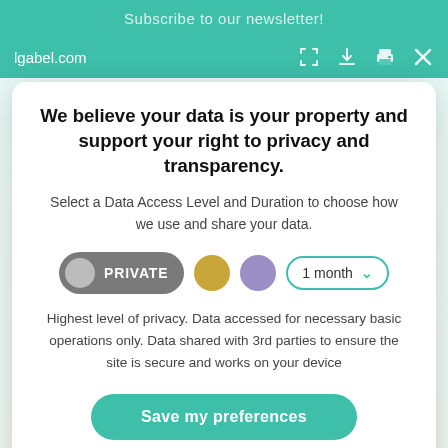Subscribe to our newsletter!
lgabel.com
We believe your data is your property and support your right to privacy and transparency.
Select a Data Access Level and Duration to choose how we use and share your data.
PRIVATE  [dot gold]  [dot purple]  1 month ▾
Highest level of privacy. Data accessed for necessary basic operations only. Data shared with 3rd parties to ensure the site is secure and works on your device
Save my preferences
Customize
Privacy policy